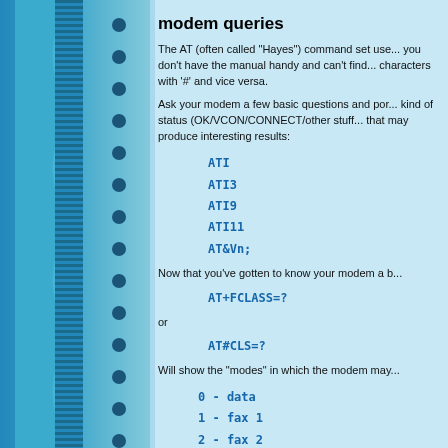modem queries
The AT (often called "Hayes") command set use... you don't have the manual handy and can't find... characters with '#' and vice versa.
Ask your modem a few basic questions and por... kind of status (OK/VCON/CONNECT/other stuff... that may produce interesting results:
ATI
ATI3
ATI9
ATI11
AT&Vn;
Now that you've gotten to know your modem a b...
AT+FCLASS=?
or
AT#CLS=?
Will show the "modes" in which the modem may...
0    - data
1    - fax 1
2    - fax 2
2.0 - fax 2.0
8    - voice
You can query the current mode using: